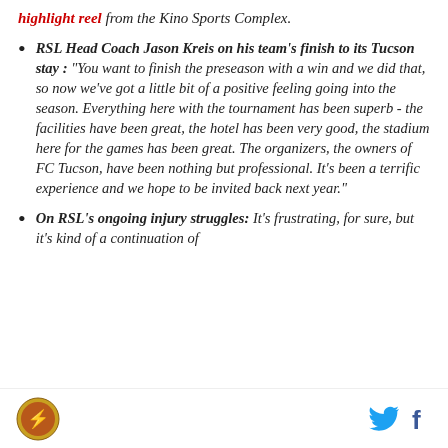highlight reel from the Kino Sports Complex.
RSL Head Coach Jason Kreis on his team's finish to its Tucson stay : "You want to finish the preseason with a win and we did that, so now we've got a little bit of a positive feeling going into the season. Everything here with the tournament has been superb - the facilities have been great, the hotel has been very good, the stadium here for the games has been great. The organizers, the owners of FC Tucson, have been nothing but professional. It's been a terrific experience and we hope to be invited back next year."
On RSL's ongoing injury struggles: It's frustrating, for sure, but it's kind of a continuation of